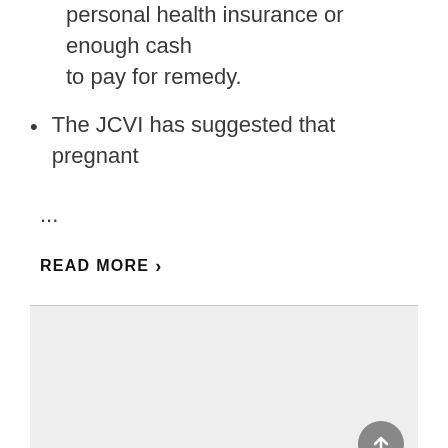personal health insurance or enough cash to pay for remedy.
The JCVI has suggested that pregnant
...
READ MORE ›
[Figure (photo): Gray placeholder image block with a scroll-to-top button in the bottom-right corner]